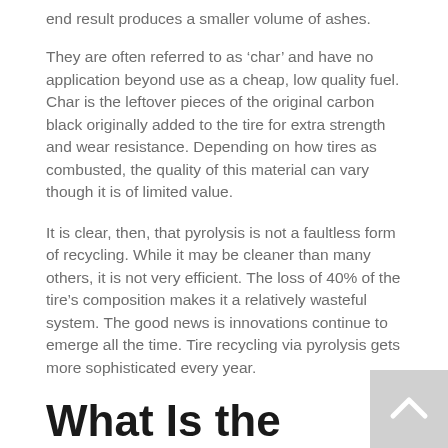end result produces a smaller volume of ashes.
They are often referred to as ‘char’ and have no application beyond use as a cheap, low quality fuel. Char is the leftover pieces of the original carbon black originally added to the tire for extra strength and wear resistance. Depending on how tires as combusted, the quality of this material can vary though it is of limited value.
It is clear, then, that pyrolysis is not a faultless form of recycling. While it may be cleaner than many others, it is not very efficient. The loss of 40% of the tire’s composition makes it a relatively wasteful system. The good news is innovations continue to emerge all the time. Tire recycling via pyrolysis gets more sophisticated every year.
What Is the Future for Tire Recycling?
As rubber recycling techniques evolve, their reuse and repurposing is happening faster and more cheaply. Industrial